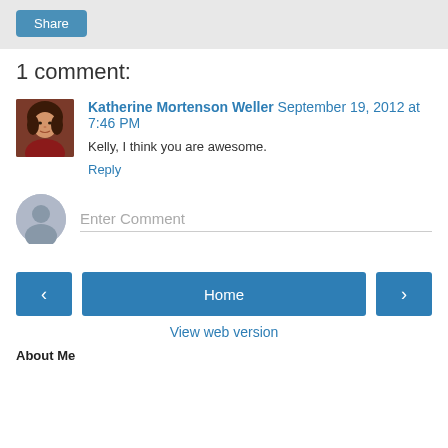[Figure (other): Share button in gray bar]
1 comment:
[Figure (photo): Profile photo of Katherine Mortenson Weller]
Katherine Mortenson Weller September 19, 2012 at 7:46 PM
Kelly, I think you are awesome.
Reply
Enter Comment
Home
View web version
About Me